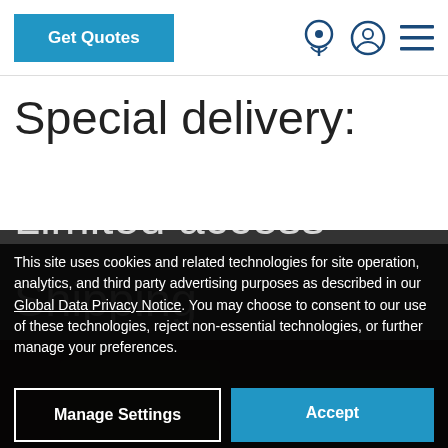Get Quotes
Special delivery:
Limited access
Shipping
This site uses cookies and related technologies for site operation, analytics, and third party advertising purposes as described in our Global Data Privacy Notice. You may choose to consent to our use of these technologies, reject non-essential technologies, or further manage your preferences.
Manage Settings
Accept